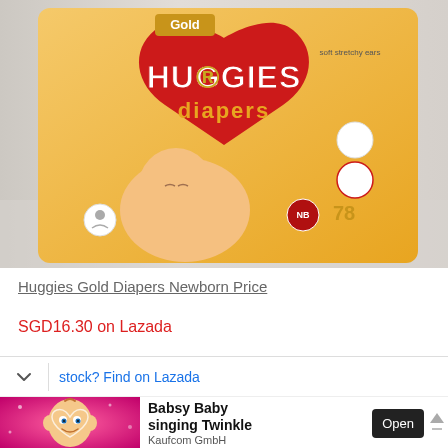[Figure (photo): Huggies Gold Diapers Newborn package showing a sleeping baby in yellow, with the Huggies red heart logo and 'diapers' text, size NB, count 78, displayed on a light gray background.]
Huggies Gold Diapers Newborn Price
SGD16.30 on Lazada
stock? Find on Lazada
[Figure (illustration): Advertisement banner: Babsy Baby cartoon character on pink sparkly background on left; right side shows bold text 'Babsy Baby singing Twinkle', 'Kaufcom GmbH', and a dark 'Open' button.]